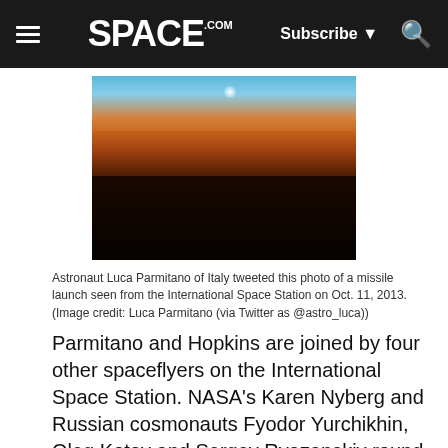SPACE.com — Subscribe ▼ 🔍
[Figure (photo): Sunset/missile launch photo taken from the International Space Station, showing a glowing orange and blue sky horizon with a bright flash/streak of light against the darkness of Earth below.]
Astronaut Luca Parmitano of Italy tweeted this photo of a missile launch seen from the International Space Station on Oct. 11, 2013.
(Image credit: Luca Parmitano (via Twitter as @astro_luca))
Parmitano and Hopkins are joined by four other spaceflyers on the International Space Station. NASA's Karen Nyberg and Russian cosmonauts Fyodor Yurchikhin, Oleg Kotov and Sergey Ryazanskiy round out the Expedition 37 crew. Ryazanskiy, Hopkins and Kotov launched to the station at the end of September. Current station commander Yurchikhin, Nyberg and Parmitano are scheduled to fly back to